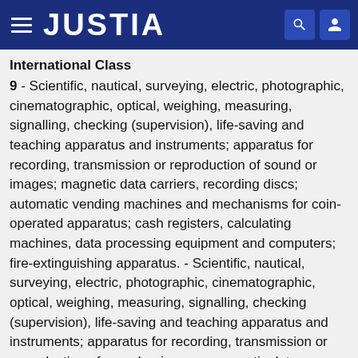JUSTIA
International Class
9 - Scientific, nautical, surveying, electric, photographic, cinematographic, optical, weighing, measuring, signalling, checking (supervision), life-saving and teaching apparatus and instruments; apparatus for recording, transmission or reproduction of sound or images; magnetic data carriers, recording discs; automatic vending machines and mechanisms for coin-operated apparatus; cash registers, calculating machines, data processing equipment and computers; fire-extinguishing apparatus. - Scientific, nautical, surveying, electric, photographic, cinematographic, optical, weighing, measuring, signalling, checking (supervision), life-saving and teaching apparatus and instruments; apparatus for recording, transmission or reproduction of sound or images; magnetic data carriers, recording discs; automatic vending machines